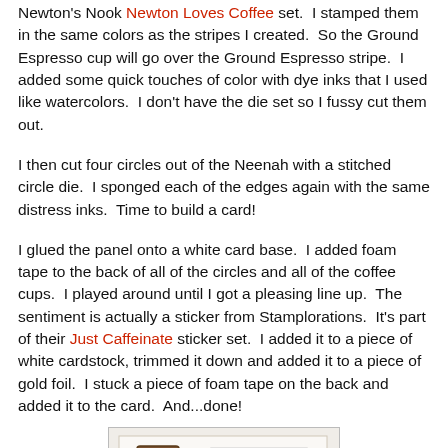Newton's Nook Newton Loves Coffee set. I stamped them in the same colors as the stripes I created. So the Ground Espresso cup will go over the Ground Espresso stripe. I added some quick touches of color with dye inks that I used like watercolors. I don't have the die set so I fussy cut them out.
I then cut four circles out of the Neenah with a stitched circle die. I sponged each of the edges again with the same distress inks. Time to build a card!
I glued the panel onto a white card base. I added foam tape to the back of all of the circles and all of the coffee cups. I played around until I got a pleasing line up. The sentiment is actually a sticker from Stamplorations. It's part of their Just Caffeinate sticker set. I added it to a piece of white cardstock, trimmed it down and added it to a piece of gold foil. I stuck a piece of foam tape on the back and added it to the card. And...done!
[Figure (photo): Partial photo of a handmade greeting card showing coffee-themed stamps and a 'Just Caffeinate' sentiment on a light background.]